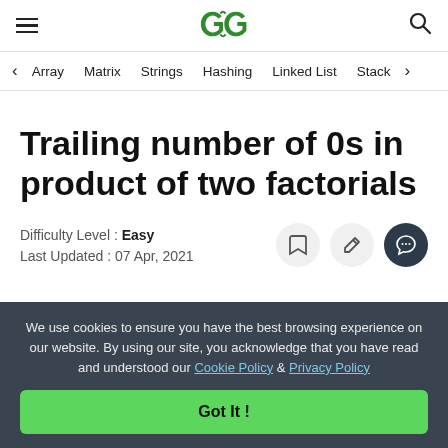GeeksforGeeks header with hamburger menu, logo, and search icon
Array  Matrix  Strings  Hashing  Linked List  Stack
Trailing number of 0s in product of two factorials
Difficulty Level : Easy
Last Updated : 07 Apr, 2021
We use cookies to ensure you have the best browsing experience on our website. By using our site, you acknowledge that you have read and understood our Cookie Policy & Privacy Policy
Got It !